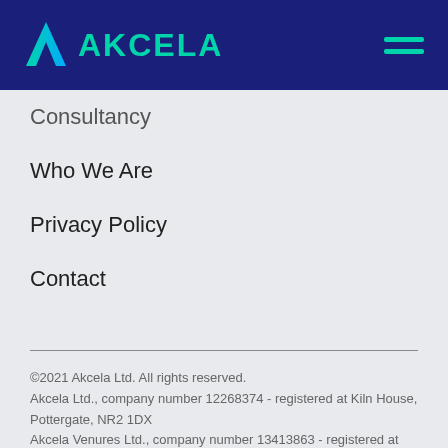AKCELA
Consultancy
Who We Are
Privacy Policy
Contact
©2021 Akcela Ltd. All rights reserved.
Akcela Ltd., company number 12268374 - registered at Kiln House, Pottergate, NR2 1DX
Akcela Venures Ltd., company number 13413863 - registered at Kiln House, Pottergate, NR2 1DX
Akcela is a registered trademark - UK00003620328